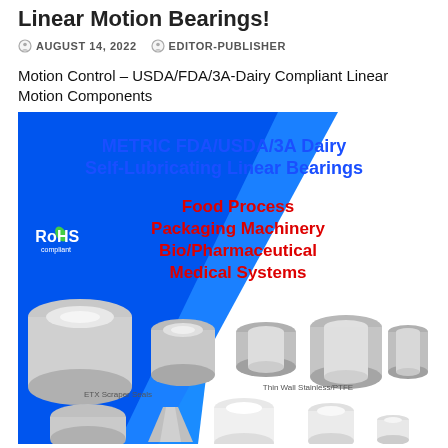Linear Motion Bearings!
AUGUST 14, 2022   EDITOR-PUBLISHER
Motion Control – USDA/FDA/3A-Dairy Compliant Linear Motion Components
[Figure (photo): Product advertisement for METRIC FDA/USDA/3A Dairy Self-Lubricating Linear Bearings showing stainless steel and PTFE bearings. Features applications: Food Process, Packaging Machinery, Bio/Pharmaceutical, Medical Systems. RoHS compliant badge shown. ETX Scraper Seals and Thin Wall Stainless/PTFE product photos visible.]